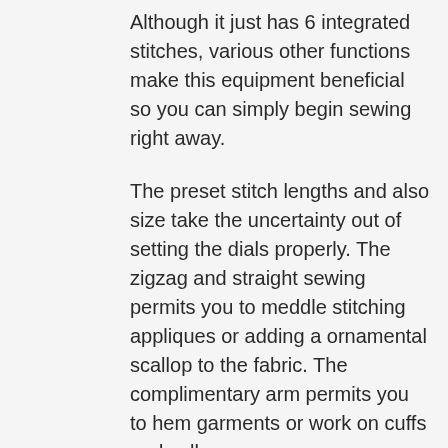Although it just has 6 integrated stitches, various other functions make this equipment beneficial so you can simply begin sewing right away.
The preset stitch lengths and also size take the uncertainty out of setting the dials properly. The zigzag and straight sewing permits you to meddle stitching appliques or adding a ornamental scallop to the fabric. The complimentary arm permits you to hem garments or work on cuffs and collars.
With twin spool pins, you can sew with a twin needle to double stitch in one pass. It has easy threading as well as bobbin winding along with an LED light. It is light-